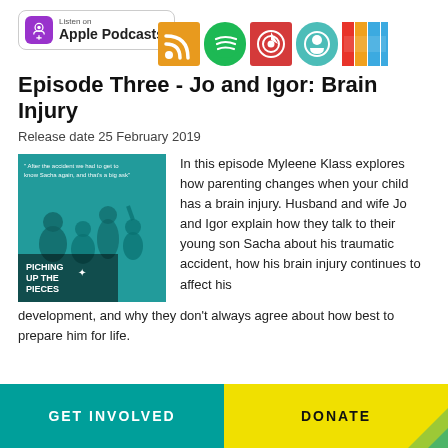[Figure (logo): Apple Podcasts badge with podcast icon]
[Figure (infographic): Row of podcast platform icons: RSS feed (orange), Spotify (green), Pocket Casts (red), Podbean (teal), and a colourful striped icon]
Episode Three - Jo and Igor: Brain Injury
Release date 25 February 2019
[Figure (photo): Podcast cover art for 'Picking Up the Pieces' showing a teal-tinted family photo with text quote: 'After the accident we had to get to know Sacha again, and that's a big ask']
In this episode Myleene Klass explores how parenting changes when your child has a brain injury. Husband and wife Jo and Igor explain how they talk to their young son Sacha about his traumatic accident, how his brain injury continues to affect his development, and why they don't always agree about how best to prepare him for life.
GET INVOLVED    DONATE